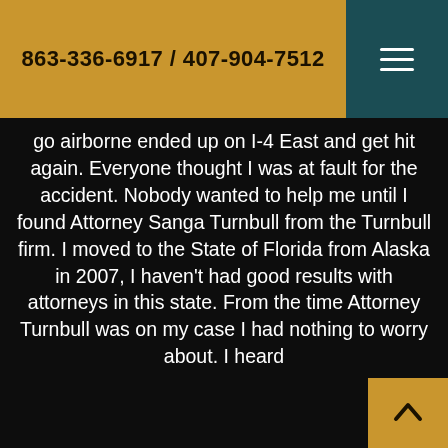863-336-6917 / 407-904-7512
go airborne ended up on I-4 East and get hit again. Everyone thought I was at fault for the accident. Nobody wanted to help me until I found Attorney Sanga Turnbull from the Turnbull firm. I moved to the State of Florida from Alaska in 2007, I haven't had good results with attorneys in this state. From the time Attorney Turnbull was on my case I had nothing to worry about. I heard